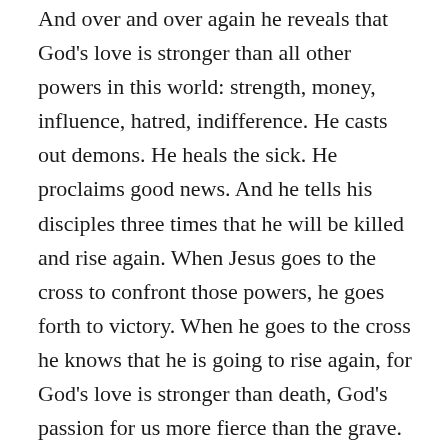And over and over again he reveals that God's love is stronger than all other powers in this world: strength, money, influence, hatred, indifference. He casts out demons. He heals the sick. He proclaims good news. And he tells his disciples three times that he will be killed and rise again. When Jesus goes to the cross to confront those powers, he goes forth to victory. When he goes to the cross he knows that he is going to rise again, for God's love is stronger than death, God's passion for us more fierce than the grave.
Easter is our reminder, that if you go with him, even when it looks like certain death, it ends in victory. The empty tomb. Resurrection. It ends in amazement and wonder, in tears of joy and praise, in the amazing truth that God comes through for those who put their trust in